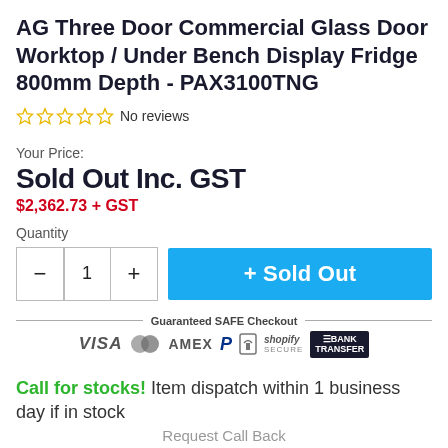AG Three Door Commercial Glass Door Worktop / Under Bench Display Fridge 800mm Depth - PAX3100TNG
No reviews
Your Price:
Sold Out Inc. GST
$2,362.73 + GST
Quantity
+ Sold Out
[Figure (infographic): Guaranteed SAFE Checkout payment icons: VISA, Mastercard, AMEX, PayPal, lock icon, Shopify Secure, Bank Transfer]
Call for stocks! Item dispatch within 1 business day if in stock
Request Call Back